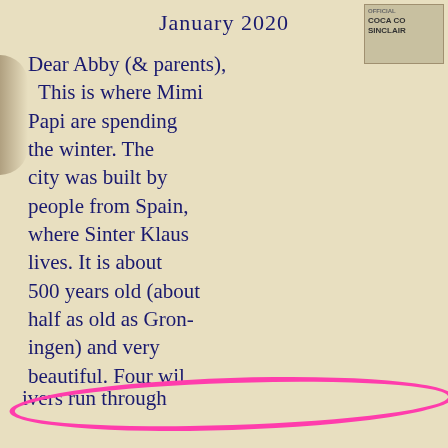January 2020
Dear Abby (& parents), This is where Mimi Papi are spending the winter. The city was built by people from Spain, where Sinter Klaus lives. It is about 500 years old (about half as old as Groningen) and very beautiful. Four wild rivers run through